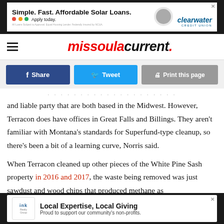[Figure (other): Top advertisement banner: Simple. Fast. Affordable Solar Loans. Apply today. Clearwater Credit Union logo. Close X button.]
missoulacurrent.
[Figure (other): Social sharing buttons: Share (Facebook, dark blue), Tweet (Twitter, light blue), Print this page (gray)]
and liable party that are both based in the Midwest. However, Terracon does have offices in Great Falls and Billings. They aren't familiar with Montana's standards for Superfund-type cleanup, so there's been a bit of a learning curve, Norris said.
When Terracon cleaned up other pieces of the White Pine Sash property in 2016 and 2017, the waste being removed was just sawdust and wood chips that produced methane as they decomposed but no soil that contained hazardous
[Figure (other): Bottom advertisement banner: INK Realty Group. Local Expertise, Local Giving. Proud to support our community's non-profits. Close X button.]